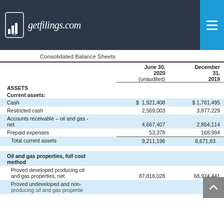getfilings.com
Consolidated Balance Sheets
|  | June 30, 2020 (unaudited) | December 31, 2019 |
| --- | --- | --- |
| ASSETS |  |  |
| Current assets: |  |  |
| Cash | $ 1,921,408 | $ 1,761,495 |
| Restricted cash | 2,569,003 | 3,877,229 |
| Accounts receivable – oil and gas - net | 4,667,407 | 2,864,114 |
| Prepaid expenses | 53,378 | 168,994 |
| Total current assets | 9,211,196 | 8,671,83 |
| Oil and gas properties, full cost method |  |  |
| Proved developed producing oil and gas properties, net | 87,818,028 | 68,924,441 |
| Proved undeveloped and non-producing oil and gas properties |  |  |